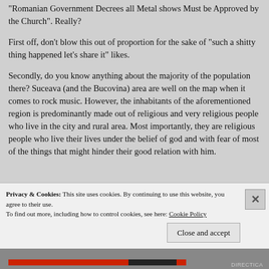Romanian Government Decrees all Metal shows Must be Approved by the Church". Really?
First off, don't blow this out of proportion for the sake of “such a shitty thing happened let’s share it” likes.
Secondly, do you know anything about the majority of the population there? Suceava (and the Bucovina) area are well on the map when it comes to rock music. However, the inhabitants of the aforementioned region is predominantly made out of religious and very religious people who live in the city and rural area. Most importantly, they are religious people who live their lives under the belief of god and with fear of most of the things that might hinder their good relation with him.
Privacy & Cookies: This site uses cookies. By continuing to use this website, you agree to their use.
To find out more, including how to control cookies, see here: Cookie Policy
Close and accept